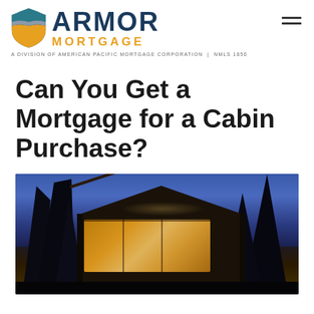[Figure (logo): Armor Mortgage logo with shield icon and tagline: A DIVISION OF AMERICAN PACIFIC MORTGAGE CORPORATION | NMLS 1850]
Can You Get a Mortgage for a Cabin Purchase?
[Figure (photo): Evening photo of a modern cabin with large glass windows and warm interior lighting, surrounded by tall pine trees against a twilight blue sky]